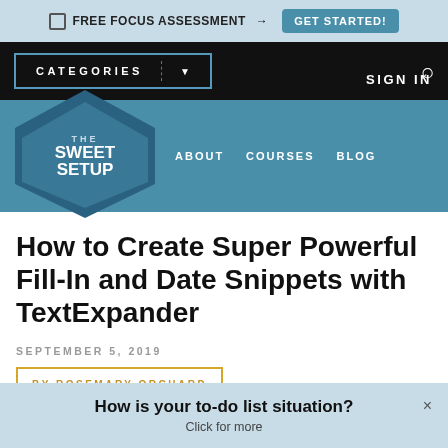FREE FOCUS ASSESSMENT → GET STARTED!
CATEGORIES | SIGN IN | Search
[Figure (logo): The Sweet Setup hexagon logo with navigation links: ABOUT, COURSES, BLOG]
How to Create Super Powerful Fill-In and Date Snippets with TextExpander
SEPTEMBER 5, 2019
BY ROSEMARY ORCHARD
How is your to-do list situation? Click for more